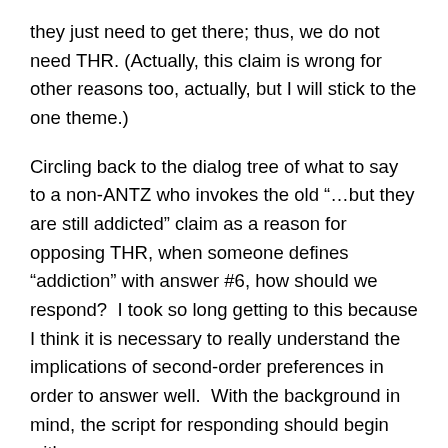they just need to get there; thus, we do not need THR. (Actually, this claim is wrong for other reasons too, actually, but I will stick to the one theme.)
Circling back to the dialog tree of what to say to a non-ANTZ who invokes the old “…but they are still addicted” claim as a reason for opposing THR, when someone defines “addiction” with answer #6, how should we respond?  I took so long getting to this because I think it is necessary to really understand the implications of second-order preferences in order to answer well.  With the background in mind, the script for responding should begin with:
If someone says they want to quit but never does, or they quit for a while and start again, it shows that they actually prefer smoking to abstinence when those are the only two